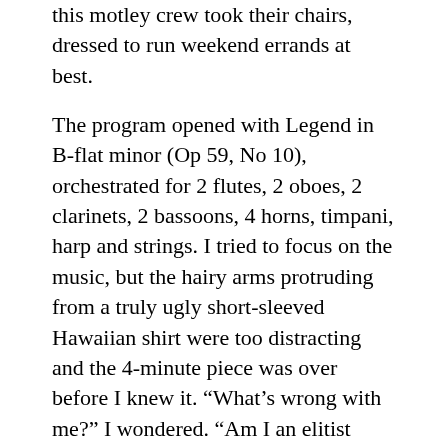this motley crew took their chairs, dressed to run weekend errands at best.
The program opened with Legend in B-flat minor (Op 59, No 10), orchestrated for 2 flutes, 2 oboes, 2 clarinets, 2 bassoons, 4 horns, timpani, harp and strings. I tried to focus on the music, but the hairy arms protruding from a truly ugly short-sleeved Hawaiian shirt were too distracting and the 4-minute piece was over before I knew it. “What’s wrong with me?” I wondered. “Am I an elitist snob?” Clearly, what someone looks like has no bearing on the music. “Get a grip. Focus.” I listened to the Violin Concerto in A minor (Op. 53) with my eyes closed, and within a dozen measures of the opening Allegro Juvo...